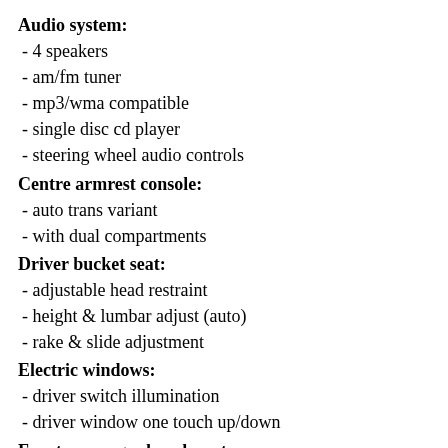Audio system:
- 4 speakers
- am/fm tuner
- mp3/wma compatible
- single disc cd player
- steering wheel audio controls
Centre armrest console:
- auto trans variant
- with dual compartments
Driver bucket seat:
- adjustable head restraint
- height & lumbar adjust (auto)
- rake & slide adjustment
Electric windows:
- driver switch illumination
- driver window one touch up/down
Front passenger bench seat:
- adjustable head restraint
- manual trans variant
Front passenger bucket seat:
- adjustable head restraint
- auto trans variant